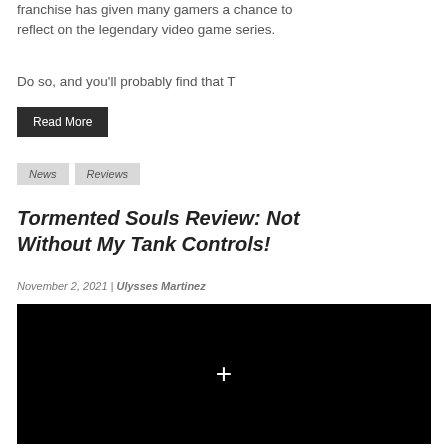franchise has given many gamers a chance to reflect on the legendary video game series.
Do so, and you'll probably find that T
Read More
News  Reviews
Tormented Souls Review: Not Without My Tank Controls!
November 2, 2021 | Ulysses Martinez
[Figure (photo): Black thumbnail image with a white plus/cross icon in the center]